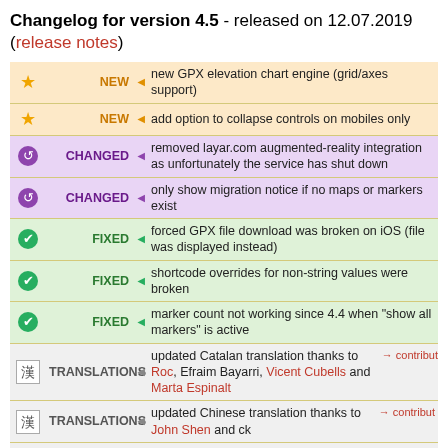Changelog for version 4.5 - released on 12.07.2019 (release notes)
| Icon | Label | Div | Description |
| --- | --- | --- | --- |
| ★ | NEW | ◄ | new GPX elevation chart engine (grid/axes support) |
| ★ | NEW | ◄ | add option to collapse controls on mobiles only |
| ↺ | CHANGED | ◄ | removed layar.com augmented-reality integration as unfortunately the service has shut down |
| ↺ | CHANGED | ◄ | only show migration notice if no maps or markers exist |
| ✔ | FIXED | ◄ | forced GPX file download was broken on iOS (file was displayed instead) |
| ✔ | FIXED | ◄ | shortcode overrides for non-string values were broken |
| ✔ | FIXED | ◄ | marker count not working since 4.4 when "show all markers" is active |
| 漢 | TRANSLATIONS | ◄ | updated Catalan translation thanks to Roc, Efraim Bayarri, Vicent Cubells and Marta Espinalt → contribute |
| 漢 | TRANSLATIONS | ◄ | updated Chinese translation thanks to John Shen and ck → contribute |
| 漢 | TRANSLATIONS | ◄ | updated Dutch translation thanks to Ronald Smeets, Marijke Metz, Patrick Ruers, Fokko van der Leest and Hans Temming → contribute |